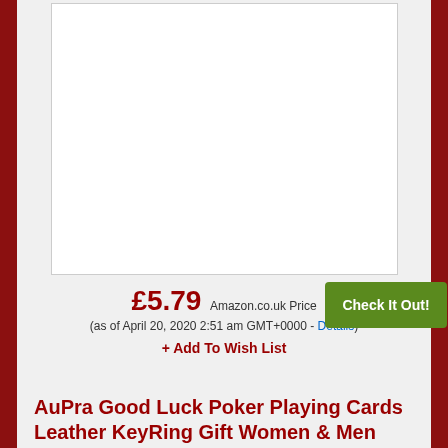[Figure (photo): White product image area (blank/placeholder) for a product listing]
£5.79 Amazon.co.uk Price (as of April 20, 2020 2:51 am GMT+0000 - Details)
+ Add To Wish List
AuPra Good Luck Poker Playing Cards Leather KeyRing Gift Women & Men